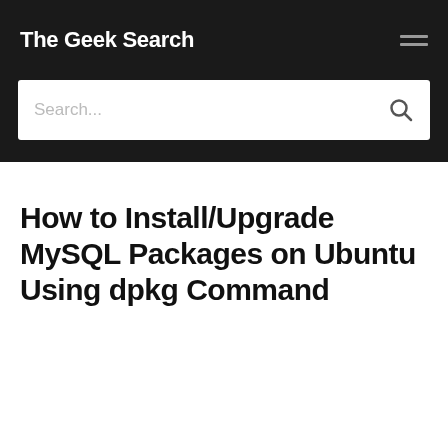The Geek Search
[Figure (screenshot): Search bar with placeholder text 'Search...' and a search icon on the right]
How to Install/Upgrade MySQL Packages on Ubuntu Using dpkg Command